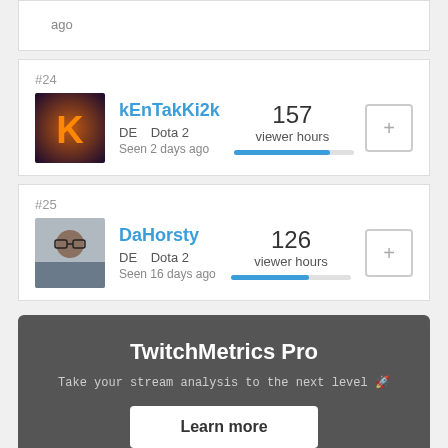ago
#24
kEnTakKi2k
DE  Dota 2
Seen 2 days ago
157 viewer hours
#25
DaHorsty
DE  Dota 2
Seen 16 days ago
126 viewer hours
TwitchMetrics Pro
Take your stream analysis to the next level 🚀
Learn more